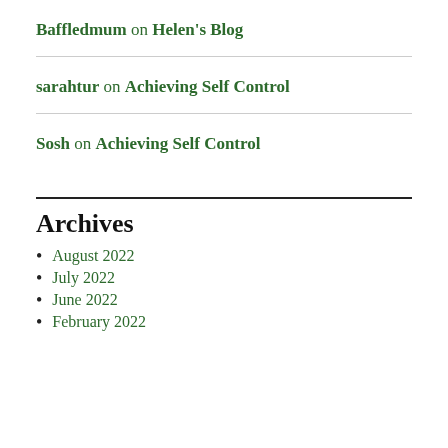Baffledmum on Helen's Blog
sarahtur on Achieving Self Control
Sosh on Achieving Self Control
Archives
August 2022
July 2022
June 2022
February 2022